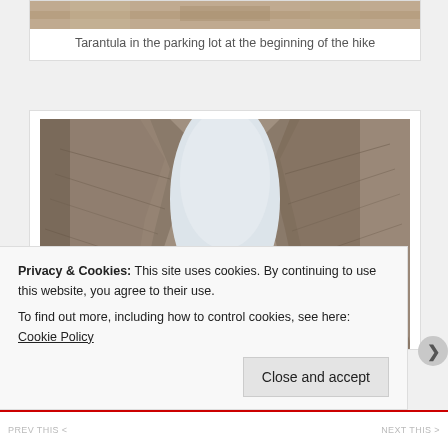[Figure (photo): Partial view of a desert/sandy landscape photo at the top of the page — Tarantula photo strip]
Tarantula in the parking lot at the beginning of the hike
[Figure (photo): Person in blue jacket and black skirt/shorts standing in a narrow slot canyon with tall layered rock walls on either side and sky visible above]
Privacy & Cookies: This site uses cookies. By continuing to use this website, you agree to their use.
To find out more, including how to control cookies, see here: Cookie Policy
Close and accept